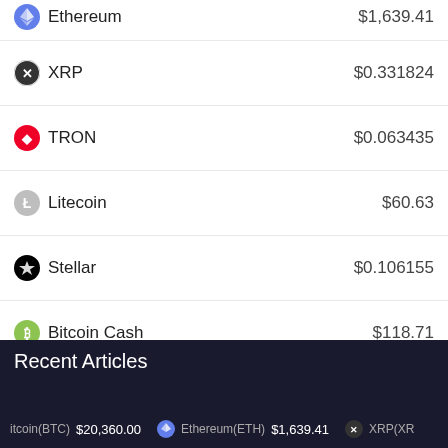| Cryptocurrency | Price |
| --- | --- |
| Ethereum | $1,639.41 |
| XRP | $0.331824 |
| TRON | $0.063435 |
| Litecoin | $60.63 |
| Stellar | $0.106155 |
| Bitcoin Cash | $118.71 |
| EOS | $1.55 |
| Dash | $46.19 |
| Bitcoin Gold | $23.20 |
Recent Articles
Bitcoin(BTC) $20,360.00   Ethereum(ETH) $1,639.41   XRP(XRP)